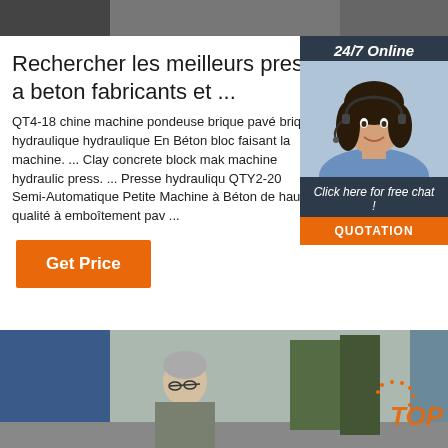[Figure (photo): Top banner photo, partially visible, dark tones]
Rechercher les meilleurs presse a beton fabricants et ...
QT4-18 chine machine pondeuse brique pavé brique hydraulique hydraulique En Béton bloc faisant la machine. ... Clay concrete block mak machine hydraulic press. ... Presse hydrauliqu QTY2-20 Semi-Automatique Petite Machine à Béton de haute qualité à emboîtement pav ...
[Figure (photo): Sidebar advertisement with woman wearing headset, 24/7 Online support, Click here for free chat, QUOTATION button]
[Figure (photo): Get Price orange button]
[Figure (photo): Bottom photo showing elderly man near industrial machinery with TOP watermark]